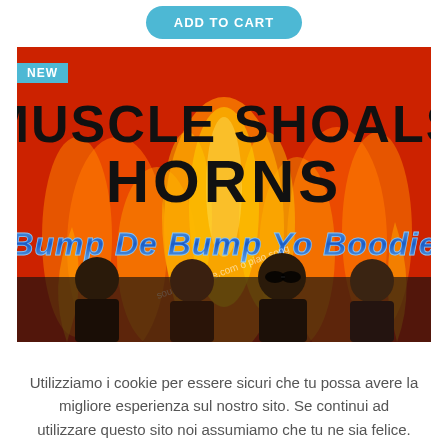ADD TO CART
[Figure (photo): Album cover for Muscle Shoals Horns – 'Bump De Bump Yo Boodie'. Red background with large flame imagery. Bold black text reads 'MUSCLE SHOALS HORNS'. Blue stylized text reads 'Bump De Bump Yo Boodie'. Four band members visible at bottom. Watermark text reads 'soulfunkdance.com o piao song'. A cyan 'NEW' badge is in the top-left corner.]
Utilizziamo i cookie per essere sicuri che tu possa avere la migliore esperienza sul nostro sito. Se continui ad utilizzare questo sito noi assumiamo che tu ne sia felice.
ACCEPT